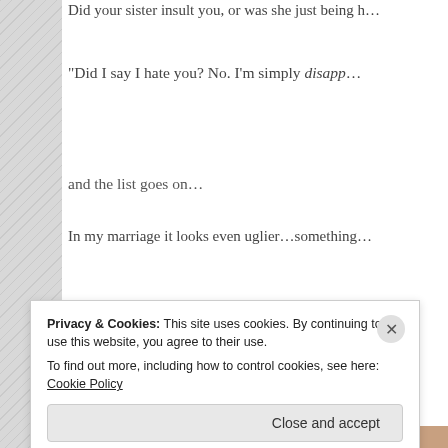Did your sister insult you, or was she just being h…
“Did I say I hate you? No. I’m simply disapp…
and the list goes on…
In my marriage it looks even uglier…something…
“I don’t love that color on you.”
He thinks I’m so ugly.
“This isn’t my favorite meal you’ve ma…
Privacy & Cookies: This site uses cookies. By continuing to use this website, you agree to their use.
To find out more, including how to control cookies, see here: Cookie Policy
Close and accept